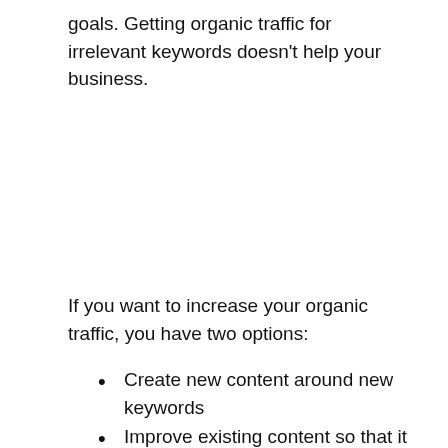goals. Getting organic traffic for irrelevant keywords doesn't help your business.
If you want to increase your organic traffic, you have two options:
Create new content around new keywords
Improve existing content so that it outperforms other content ranking for the